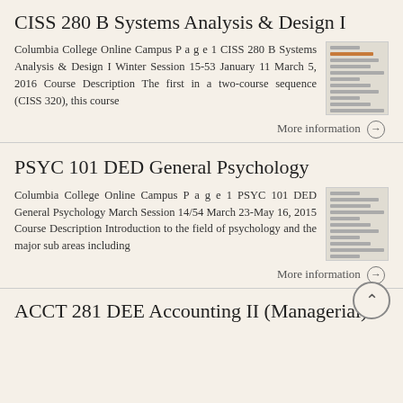CISS 280 B Systems Analysis & Design I
Columbia College Online Campus P a g e 1 CISS 280 B Systems Analysis & Design I Winter Session 15-53 January 11 March 5, 2016 Course Description The first in a two-course sequence (CISS 320), this course
More information →
PSYC 101 DED General Psychology
Columbia College Online Campus P a g e 1 PSYC 101 DED General Psychology March Session 14/54 March 23-May 16, 2015 Course Description Introduction to the field of psychology and the major sub areas including
More information →
ACCT 281 DEE Accounting II (Managerial)